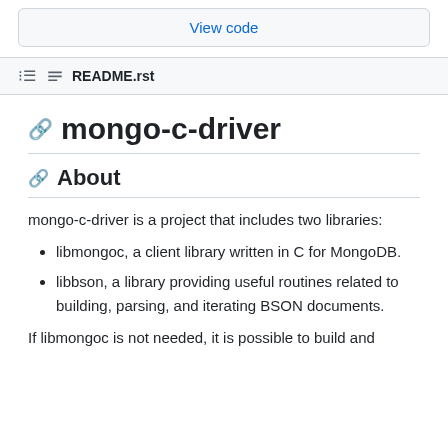View code
README.rst
mongo-c-driver
About
mongo-c-driver is a project that includes two libraries:
libmongoc, a client library written in C for MongoDB.
libbson, a library providing useful routines related to building, parsing, and iterating BSON documents.
If libmongoc is not needed, it is possible to build and